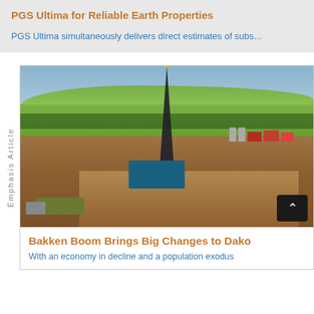PGS Ultima for Reliable Earth Properties
PGS Ultima simultaneously delivers direct estimates of subs...
[Figure (photo): Aerial photograph of a hydraulic fracturing/drilling rig in the Bakken formation, surrounded by green fields, farm buildings, and a dirt drilling pad in North Dakota.]
Bakken Boom Brings Big Changes to Dako
With an economy in decline and a population exodus